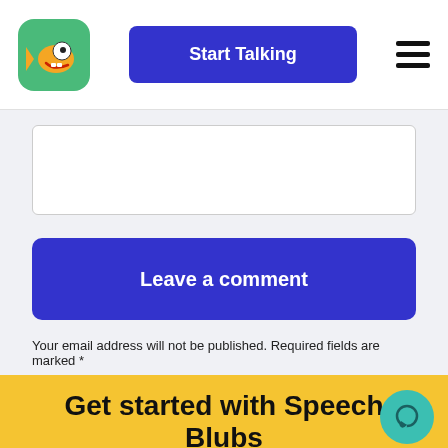[Figure (logo): Speech Blubs app logo — fish with big eyes on green rounded square background]
Start Talking
[Figure (other): Hamburger menu icon (three horizontal lines)]
[Figure (other): White text input/comment box]
Leave a comment
Your email address will not be published. Required fields are marked *
Get started with Speech Blubs
Cancel anytime, hassle-free!
[Figure (other): Teal circular chat/comment bubble button]